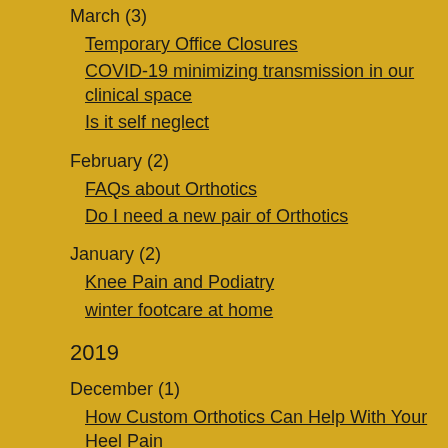March (3)
Temporary Office Closures
COVID-19 minimizing transmission in our clinical space
Is it self neglect
February (2)
FAQs about Orthotics
Do I need a new pair of Orthotics
January (2)
Knee Pain and Podiatry
winter footcare at home
2019
December (1)
How Custom Orthotics Can Help With Your Heel Pain
June (1)
What Problems Can Orthotics Help With?
May (1)